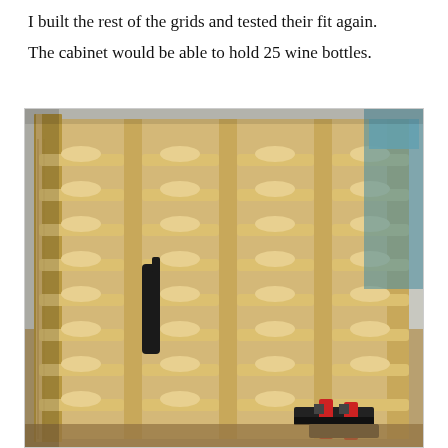I built the rest of the grids and tested their fit again. The cabinet would be able to hold 25 wine bottles.
[Figure (photo): Photograph of a wooden wine rack cabinet made from light pine/spruce wood with a grid of interlocking slots for holding wine bottles. The rack is partially assembled with woodworking clamps (red and black) visible at the bottom right. A wine bottle is visible inside one of the slots. The rack is sitting on a workbench in a workshop.]